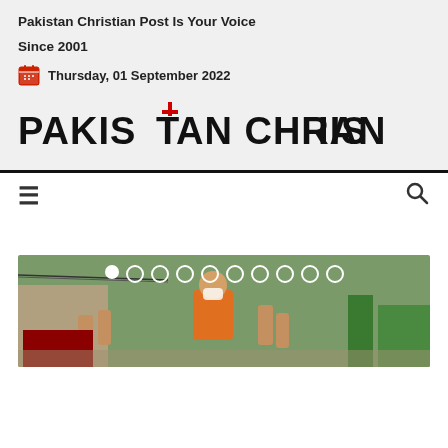Pakistan Christian Post Is Your Voice
Since 2001
Thursday, 01 September 2022
[Figure (logo): Pakistan Christian Post logo with red cross on the letter T]
[Figure (photo): Outdoor scene with people raising hands, a person in orange vest visible, slideshow carousel with dot indicators]